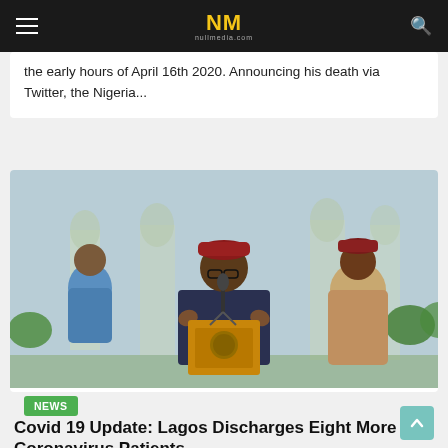NM nullmedia.com
the early hours of April 16th 2020. Announcing his death via Twitter, the Nigeria...
[Figure (photo): A Nigerian official speaking at a podium with a Lagos state seal, gesturing with both hands, wearing a dark outfit and red cap, flanked by two other men at an outdoor press conference.]
NEWS
Covid 19 Update: Lagos Discharges Eight More Coronavirus Patients